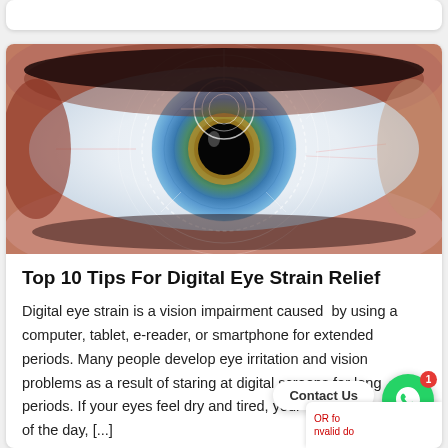[Figure (photo): Close-up macro photograph of a human eye with blue iris, overlaid with futuristic circular targeting/scanning graphic elements in white]
Top 10 Tips For Digital Eye Strain Relief
Digital eye strain is a vision impairment caused by using a computer, tablet, e-reader, or smartphone for extended periods. Many people develop eye irritation and vision problems as a result of staring at digital screens for long periods. If your eyes feel dry and tired, your vision is . of the day, [...]